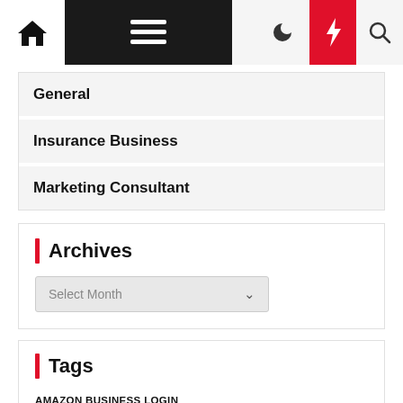Navigation bar with home icon, menu, moon, lightning, and search icons
General
Insurance Business
Marketing Consultant
Archives
Select Month
Tags
AMAZON BUSINESS LOGIN
AMAZON BUSINESS PRIME   ATT BUSINESS LOGIN